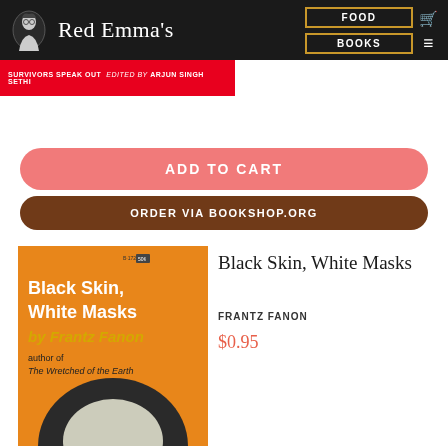Red Emma's — FOOD | BOOKS
[Figure (screenshot): Red book banner strip with text: SURVIVORS SPEAK OUT edited by ARJUN SINGH SETHI]
ADD TO CART
ORDER VIA BOOKSHOP.ORG
[Figure (illustration): Book cover of Black Skin, White Masks by Frantz Fanon. Orange background with dark silhouette of a head. Title text in white and yellow.]
Black Skin, White Masks
FRANTZ FANON
$0.95